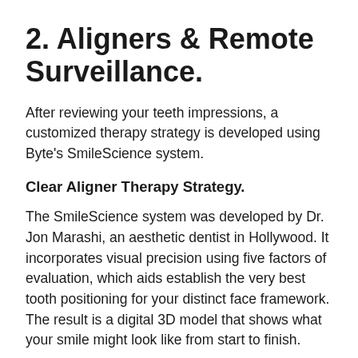2. Aligners & Remote Surveillance.
After reviewing your teeth impressions, a customized therapy strategy is developed using Byte's SmileScience system.
Clear Aligner Therapy Strategy.
The SmileScience system was developed by Dr. Jon Marashi, an aesthetic dentist in Hollywood. It incorporates visual precision using five factors of evaluation, which aids establish the very best tooth positioning for your distinct face framework. The result is a digital 3D model that shows what your smile might look like from start to finish.